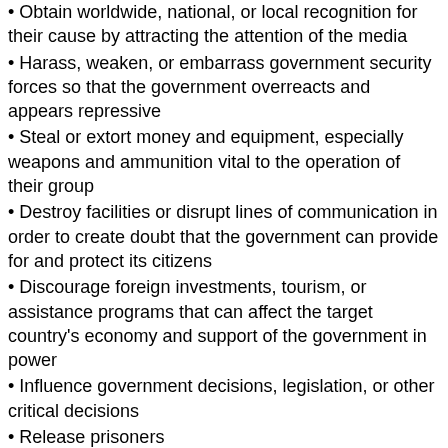Obtain worldwide, national, or local recognition for their cause by attracting the attention of the media
Harass, weaken, or embarrass government security forces so that the government overreacts and appears repressive
Steal or extort money and equipment, especially weapons and ammunition vital to the operation of their group
Destroy facilities or disrupt lines of communication in order to create doubt that the government can provide for and protect its citizens
Discourage foreign investments, tourism, or assistance programs that can affect the target country's economy and support of the government in power
Influence government decisions, legislation, or other critical decisions
Release prisoners
Satisfy vengeance
1.4. Terrorist groups
Because of mass different categories of terrorism it is used terrorist group definition. Nowadays there exist such terrorist